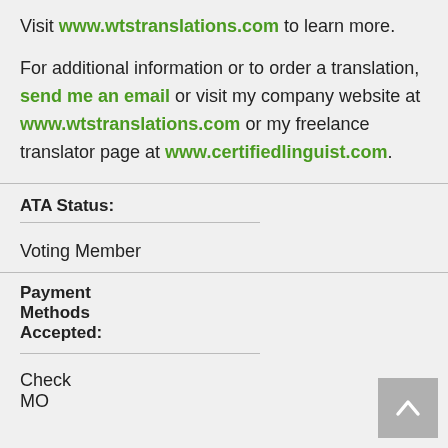Visit www.wtstranslations.com to learn more.
For additional information or to order a translation, send me an email or visit my company website at www.wtstranslations.com or my freelance translator page at www.certifiedlinguist.com.
ATA Status:
Voting Member
Payment Methods Accepted:
Check
MO